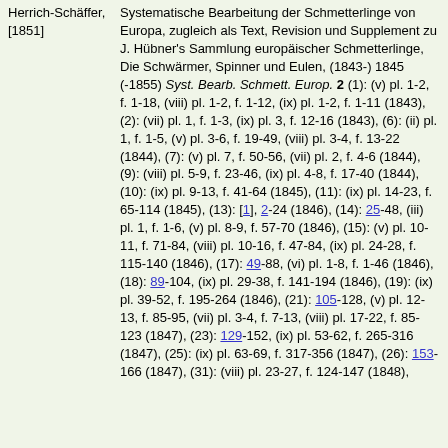Herrich-Schäffer, [1851] Systematische Bearbeitung der Schmetterlinge von Europa, zugleich als Text, Revision und Supplement zu J. Hübner's Sammlung europäischer Schmetterlinge, Die Schwärmer, Spinner und Eulen, (1843-) 1845 (-1855) Syst. Bearb. Schmett. Europ. 2 (1): (v) pl. 1-2, f. 1-18, (viii) pl. 1-2, f. 1-12, (ix) pl. 1-2, f. 1-11 (1843), (2): (vii) pl. 1, f. 1-3, (ix) pl. 3, f. 12-16 (1843), (6): (ii) pl. 1, f. 1-5, (v) pl. 3-6, f. 19-49, (viii) pl. 3-4, f. 13-22 (1844), (7): (v) pl. 7, f. 50-56, (vii) pl. 2, f. 4-6 (1844), (9): (viii) pl. 5-9, f. 23-46, (ix) pl. 4-8, f. 17-40 (1844), (10): (ix) pl. 9-13, f. 41-64 (1845), (11): (ix) pl. 14-23, f. 65-114 (1845), (13): [1], 2-24 (1846), (14): 25-48, (iii) pl. 1, f. 1-6, (v) pl. 8-9, f. 57-70 (1846), (15): (v) pl. 10-11, f. 71-84, (viii) pl. 10-16, f. 47-84, (ix) pl. 24-28, f. 115-140 (1846), (17): 49-88, (vi) pl. 1-8, f. 1-46 (1846), (18): 89-104, (ix) pl. 29-38, f. 141-194 (1846), (19): (ix) pl. 39-52, f. 195-264 (1846), (21): 105-128, (v) pl. 12-13, f. 85-95, (vii) pl. 3-4, f. 7-13, (viii) pl. 17-22, f. 85-123 (1847), (23): 129-152, (ix) pl. 53-62, f. 265-316 (1847), (25): (ix) pl. 63-69, f. 317-356 (1847), (26): 153-166 (1847), (31): (viii) pl. 23-27, f. 124-147 (1848),